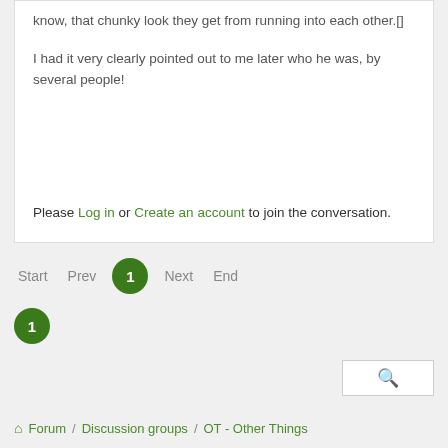know, that chunky look they get from running into each other.[]
I had it very clearly pointed out to me later who he was, by several people!
Please Log in or Create an account to join the conversation.
Start  Prev  1  Next  End
1
[Figure (other): Search box with magnifying glass icon]
Forum / Discussion groups / OT - Other Things